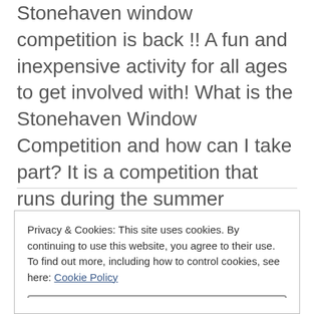Stonehaven window competition is back !! A fun and inexpensive activity for all ages to get involved with! What is the Stonehaven Window Competition and how can I take part? It is a competition that runs during the summer holidays for all ages! Local businesses around Stonehaven [...]
Privacy & Cookies: This site uses cookies. By continuing to use this website, you agree to their use. To find out more, including how to control cookies, see here: Cookie Policy
Close and accept